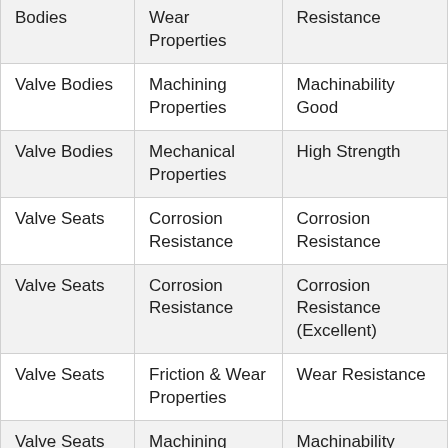| Bodies | Wear Properties | Resistance |
| Valve Bodies | Machining Properties | Machinability Good |
| Valve Bodies | Mechanical Properties | High Strength |
| Valve Seats | Corrosion Resistance | Corrosion Resistance |
| Valve Seats | Corrosion Resistance | Corrosion Resistance (Excellent) |
| Valve Seats | Friction & Wear Properties | Wear Resistance |
| Valve Seats | Machining Properties | Machinability Good |